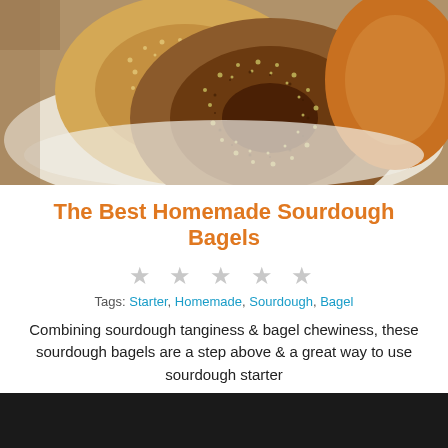[Figure (photo): Photo of sesame-topped sourdough bagels in a cloth-lined basket on a wooden surface]
The Best Homemade Sourdough Bagels
★ ★ ★ ★ ★ (star rating, all empty/grey)
Tags: Starter, Homemade, Sourdough, Bagel
Combining sourdough tanginess & bagel chewiness, these sourdough bagels are a step above & a great way to use sourdough starter
Pagination: < 1 2 >